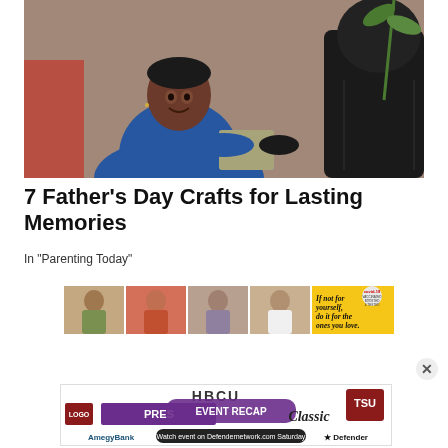[Figure (photo): A young Black man in a blue shirt smiling at a child in a black hoodie whose back is to the camera; they appear to be exchanging something.]
7 Father's Day Crafts for Lasting Memories
In “Parenting Today”
[Figure (photo): Advertisement banner showing four people with bandages on their arms promoting COVID-19 vaccination: 'If not for yourself, do it for the ones you love.' with covid-19 branding.]
[Figure (photo): Bottom advertisement banner: HBCU Classic Event Recap with AmegyBank, Defendernetwork.com Saturday, TSU, and Defender branding.]